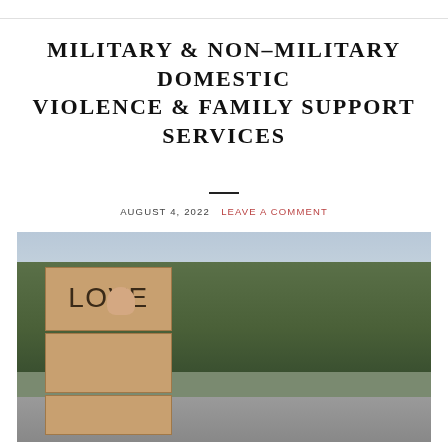MILITARY & NON–MILITARY DOMESTIC VIOLENCE & FAMILY SUPPORT SERVICES
AUGUST 4, 2022  LEAVE A COMMENT
[Figure (photo): A person holding a three-part cardboard sign reading 'LOVE SHOULDN'T HURT' against a backdrop of autumn trees and a road]